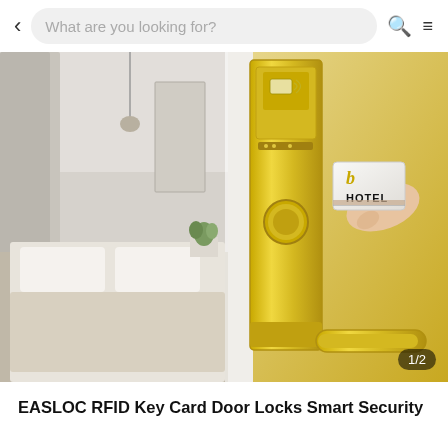What are you looking for?
[Figure (photo): Product listing photo of EASLOC RFID Key Card Door Lock. Left half shows a modern minimalist hotel bedroom with white bedding, grey curtains, pendant light, and small plant. Right half shows a gold/brass RFID door lock with a hand holding a white hotel key card near the reader. A gold door handle is visible at the bottom. Image counter badge shows '1/2'.]
EASLOC RFID Key Card Door Locks Smart Security